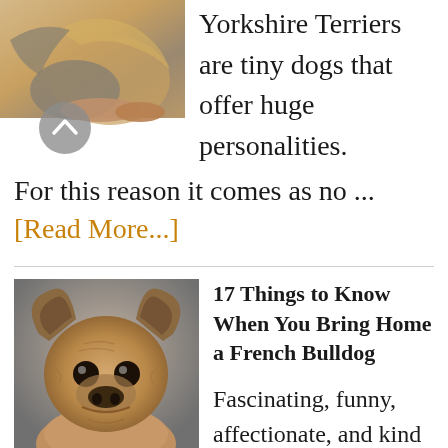[Figure (photo): Photo of a Yorkshire Terrier dog with golden and grey fur, with a circular back navigation button overlaid at the bottom left]
Yorkshire Terriers are tiny dogs that offer huge personalities.
For this reason it comes as no ... [Read More...]
[Figure (photo): Close-up photo of a French Bulldog puppy with tan/fawn coloring, large ears, and a flat wrinkled face looking directly at the camera]
17 Things to Know When You Bring Home a French Bulldog
Fascinating, funny, affectionate, and kind